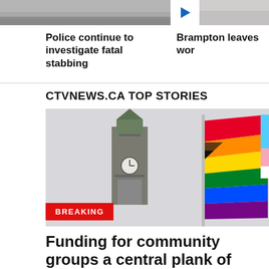[Figure (photo): Thumbnail image showing a staircase or pavement surface (left), a play button icon (center), and a partial thumbnail image (right)]
Police continue to investigate fatal stabbing
Brampton leaves wor
CTVNEWS.CA TOP STORIES
[Figure (photo): Progress Pride flag flying in front of the Peace Tower on Parliament Hill, Ottawa. A BREAKING badge is overlaid at bottom left.]
Funding for community groups a central plank of Canada's first